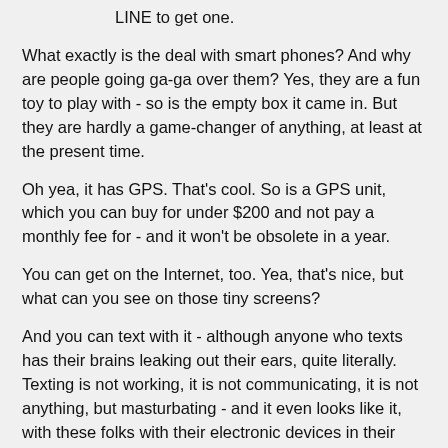LINE to get one.
What exactly is the deal with smart phones?  And why are people going ga-ga over them?  Yes, they are a fun toy to play with - so is the empty box it came in.   But they are hardly a game-changer of anything, at least at the present time.
Oh yea, it has GPS.  That's cool.  So is a GPS unit, which you can buy for under $200 and not pay a monthly fee for - and it won't be obsolete in a year.
You can get on the Internet, too.  Yea, that's nice, but what can you see on those tiny screens?
And you can text with it - although anyone who texts has their brains leaking out their ears, quite literally.  Texting is not working, it is not communicating, it is not anything, but masturbating - and it even looks like it, with these folks with their electronic devices in their laps, their hands in constant motion.